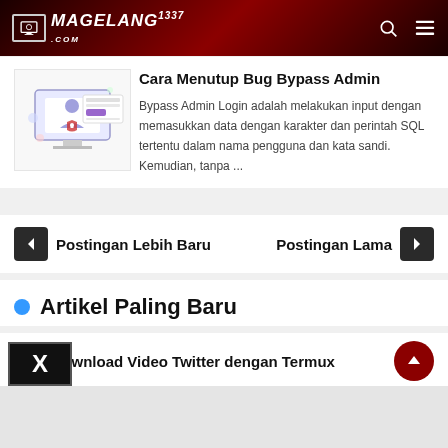MAGELANG1337.COM
Cara Menutup Bug Bypass Admin
Bypass Admin Login adalah melakukan input dengan memasukkan data dengan karakter dan perintah SQL tertentu dalam nama pengguna dan kata sandi. Kemudian, tanpa ...
< Postingan Lebih Baru
Postingan Lama >
Artikel Paling Baru
Cara Download Video Twitter dengan Termux